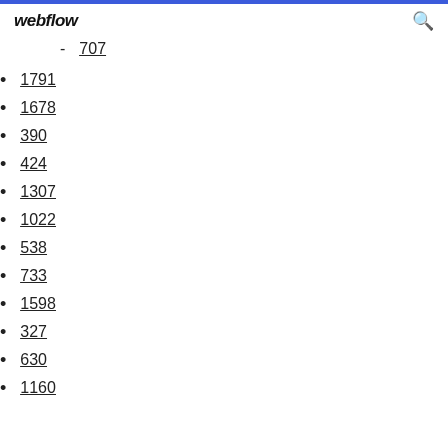webflow
707
1791
1678
390
424
1307
1022
538
733
1598
327
630
1160